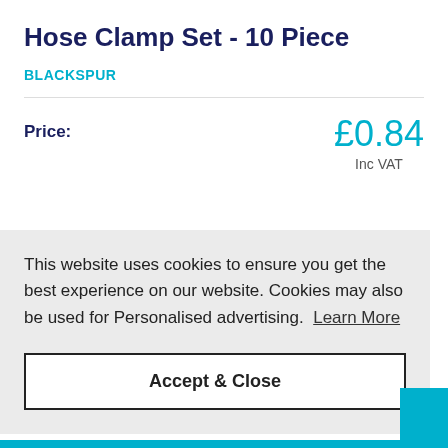Hose Clamp Set - 10 Piece
BLACKSPUR
Price: £0.84 Inc VAT
This website uses cookies to ensure you get the best experience on our website. Cookies may also be used for Personalised advertising. Learn More
Accept & Close